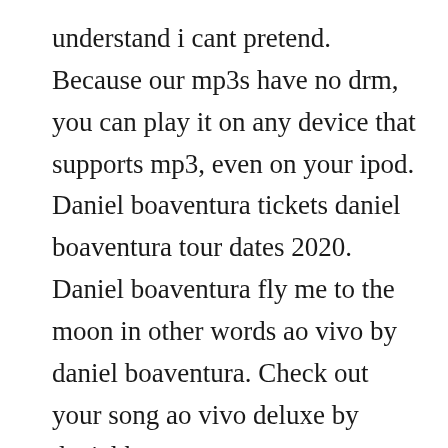understand i cant pretend. Because our mp3s have no drm, you can play it on any device that supports mp3, even on your ipod. Daniel boaventura tickets daniel boaventura tour dates 2020. Daniel boaventura fly me to the moon in other words ao vivo by daniel boaventura. Check out your song ao vivo deluxe by daniel boaventura on amazon music. Daniel boaventura was born on may 19, 1970 in salvador, bahia, brazil. Daniel boaventura 6 albuns da discografia no letras. From russia with love ao vivo, from russia